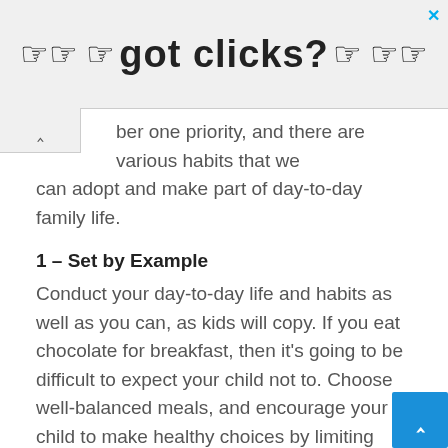[Figure (other): Advertisement banner with 'got clicks?' text and pointing hand cursor icons]
ber one priority, and there are various habits that we can adopt and make part of day-to-day family life.
1 – Set by Example
Conduct your day-to-day life and habits as well as you can, as kids will copy. If you eat chocolate for breakfast, then it's going to be difficult to expect your child not to. Choose well-balanced meals, and encourage your child to make healthy choices by limiting having treats in plain view. Take away the temptation, it'll make your life easier and tantrums limited too!
2 – Don't skip Breakfast
It really is the most important meal of the day, fueling yourself for the day ahead is super important. Adopting